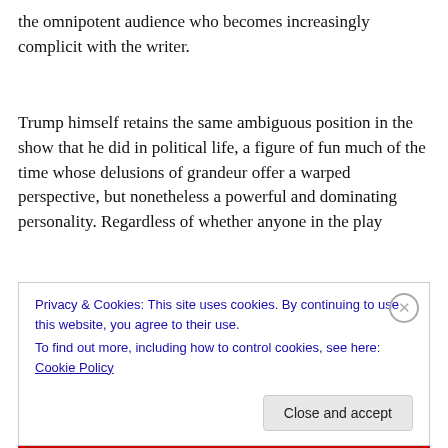the omnipotent audience who becomes increasingly complicit with the writer.
Trump himself retains the same ambiguous position in the show that he did in political life, a figure of fun much of the time whose delusions of grandeur offer a warped perspective, but nonetheless a powerful and dominating personality. Regardless of whether anyone in the play
Privacy & Cookies: This site uses cookies. By continuing to use this website, you agree to their use.
To find out more, including how to control cookies, see here: Cookie Policy
Close and accept